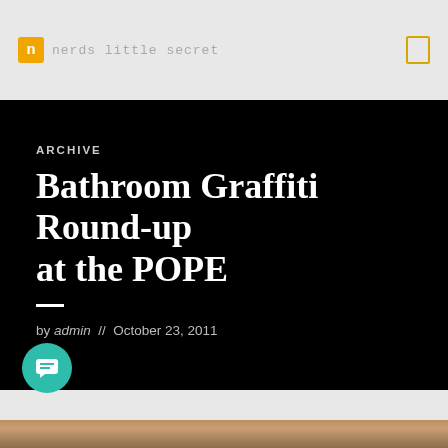n nerds little secret
ARCHIVE
Bathroom Graffiti Round-up at the POPE
by admin // October 23, 2011
[Figure (photo): Bottom strip showing a photo of bathroom graffiti at the POPE, partial view]